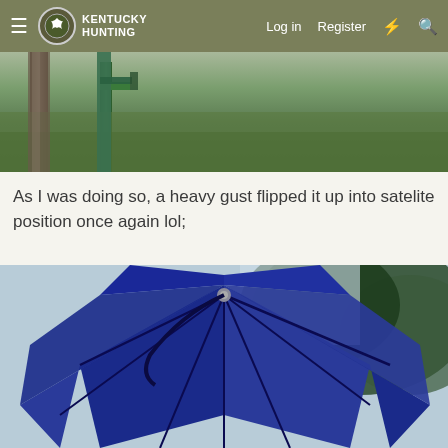Kentucky Hunting | Log in | Register
[Figure (photo): Outdoor scene showing a wooden post and green metal pole/feeder in a grassy yard]
As I was doing so, a heavy gust flipped it up into satelite position once again lol;
[Figure (photo): A blue umbrella flipped inside-out (inverted, satellite-dish position) against a background of trees and sky]